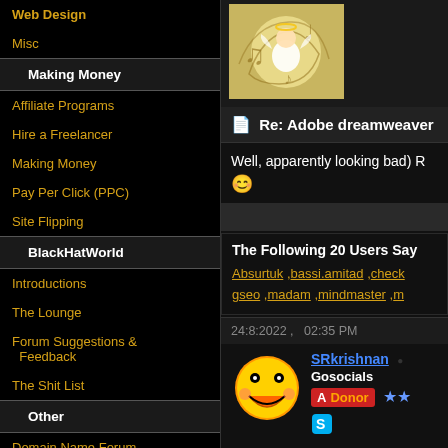Web Design
Misc
Making Money
Affiliate Programs
Hire a Freelancer
Making Money
Pay Per Click (PPC)
Site Flipping
BlackHatWorld
Introductions
The Lounge
Forum Suggestions & Feedback
The Shit List
Other
Domain Name Forum
IM Journeys
Web Hosting
[Figure (illustration): Music/angel illustration on golden background]
Re: Adobe dreamweaver
Well, apparently looking bad) 😊
The Following 20 Users Say
Absurtuk ,bassi.amitad ,check ,gseo ,madam ,mindmaster ,m
24:8:2022 ,  02:35 PM
SRkrishnan • Gosocials Donor ★★
[Figure (illustration): Yellow smiley face avatar]